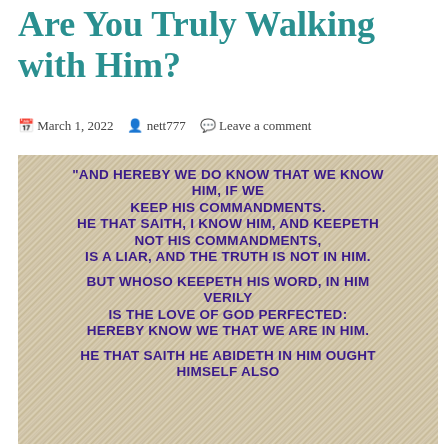Are You Truly Walking with Him?
March 1, 2022  nett777  Leave a comment
[Figure (photo): Image with wooden plank background texture overlaid with purple bold uppercase scripture text from 1 John 2:3-6 KJV: 'And hereby we do know that we know Him, if we keep His commandments. He that saith, I know Him, and keepeth not His commandments, is a liar, and the truth is not in Him. But whoso keepeth His Word, in Him verily is the love of God perfected: hereby know we that we are in Him. He that saith he abideth in Him ought himself also...']